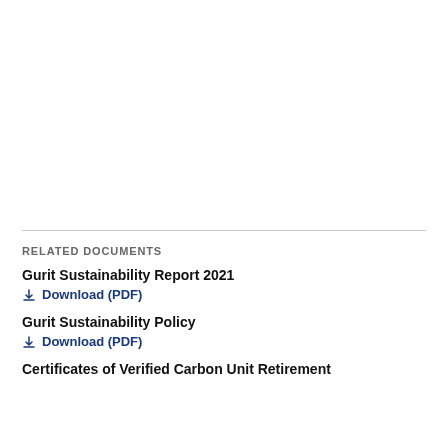RELATED DOCUMENTS
Gurit Sustainability Report 2021
↓ Download (PDF)
Gurit Sustainability Policy
↓ Download (PDF)
Certificates of Verified Carbon Unit Retirement